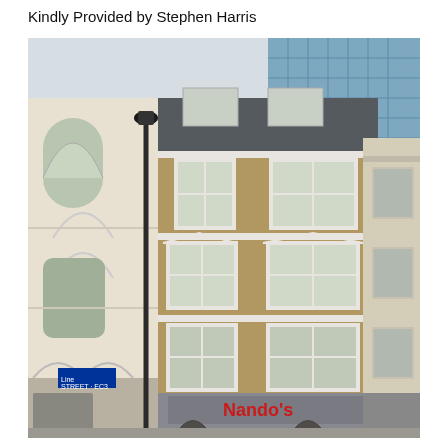Kindly Provided by Stephen Harris
[Figure (photo): Street-level photograph of a row of London buildings. Centre is a Georgian-style multi-storey brick building with white-framed sash windows and a mansard roof extension with dormer windows. To the left is a Victorian Gothic-style white stone building with arched windows. To the right is a narrower stone-faced building. At street level the central building has a grey shopfront with a red 'Nando's' sign. Behind the buildings rises a modern glass curtain-wall tower. A tall black lamp post stands in front. A street sign for 'Line Street / EC3' is visible bottom left.]